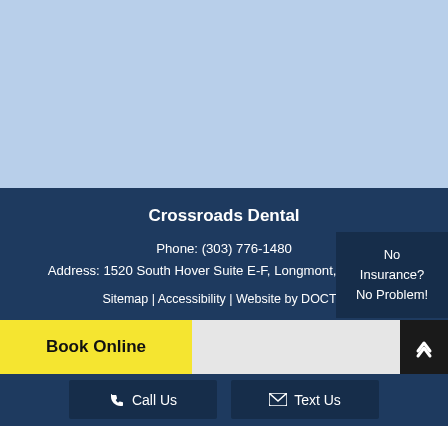[Figure (other): Light blue background area at top of page]
Crossroads Dental
Phone: (303) 776-1480
Address: 1520 South Hover Suite E-F, Longmont, CO 80501
Sitemap | Accessibility | Website by DOCTO
No Insurance? No Problem!
Book Online
Call Us
Text Us